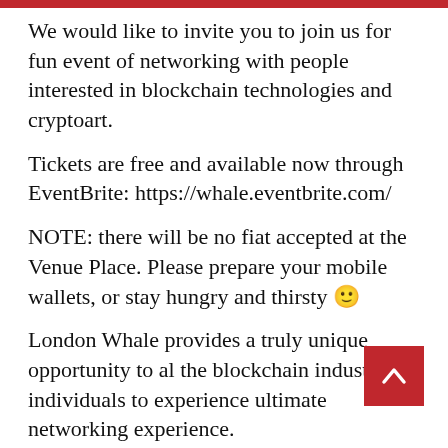We would like to invite you to join us for fun event of networking with people interested in blockchain technologies and cryptoart.
Tickets are free and available now through EventBrite: https://whale.eventbrite.com/
NOTE: there will be no fiat accepted at the Venue Place. Please prepare your mobile wallets, or stay hungry and thirsty 🙂
London Whale provides a truly unique opportunity to al the blockchain industry individuals to experience ultimate networking experience.
To find out more information about the London Whale event, please visit https://whale.london
For Editors
No Stress Limited is an organisor of the London